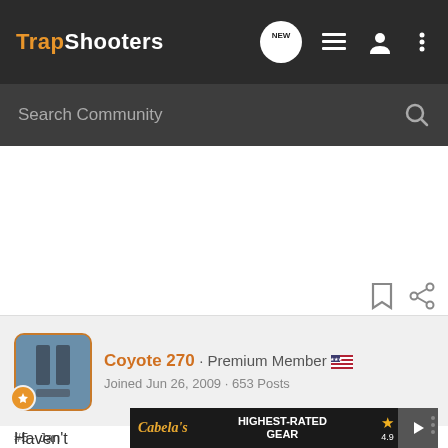TrapShooters — nav bar with Search Community, NEW message icon, list icon, person icon, more icon
Search Community
[Figure (screenshot): White content area with bookmark and share icons]
Coyote 270 · Premium Member · Joined Jun 26, 2009 · 653 Posts
#5 · Jan
[Figure (screenshot): Cabela's Highest-Rated Gear advertisement banner with 4.9 star rating and play button]
Haven't